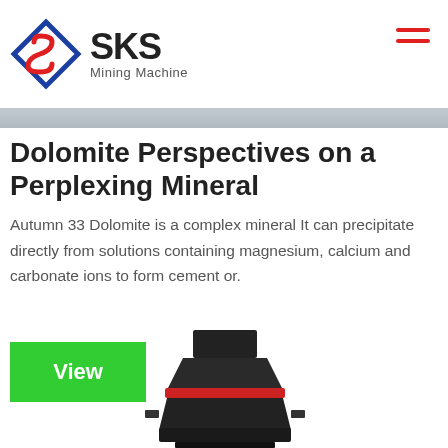SKS Mining Machine
[Figure (photo): Banner image showing industrial machinery, partially visible at top]
Dolomite Perspectives on a Perplexing Mineral
Autumn 33 Dolomite is a complex mineral It can precipitate directly from solutions containing magnesium, calcium and carbonate ions to form cement or.
View
[Figure (photo): Industrial mining cone crusher machine with red band, black body, partially visible at bottom of page]